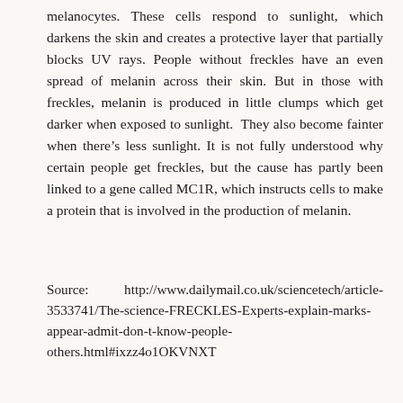melanocytes. These cells respond to sunlight, which darkens the skin and creates a protective layer that partially blocks UV rays. People without freckles have an even spread of melanin across their skin. But in those with freckles, melanin is produced in little clumps which get darker when exposed to sunlight. They also become fainter when there’s less sunlight. It is not fully understood why certain people get freckles, but the cause has partly been linked to a gene called MC1R, which instructs cells to make a protein that is involved in the production of melanin.
Source: http://www.dailymail.co.uk/sciencetech/article-3533741/The-science-FRECKLES-Experts-explain-marks-appear-admit-don-t-know-people-others.html#ixzz4o1OKVNXT